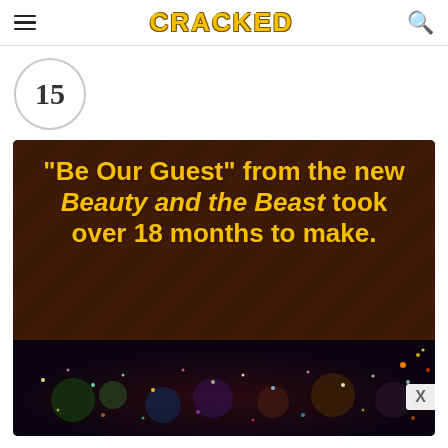CRACKED
15
[Figure (screenshot): Dark brown background image with large yellow bold text reading: "Be Our Guest" from the new Beauty and the Beast took over 18 months to make. Below the text is a colorful sparkly/magical scene image. An X button appears at the bottom right corner.]